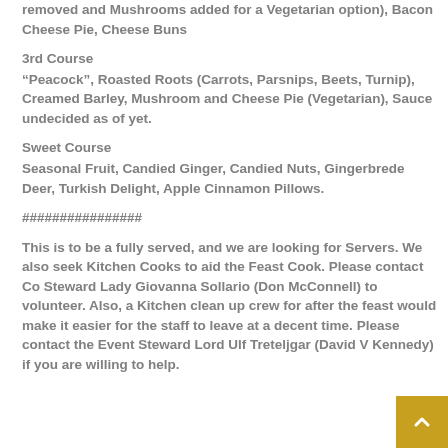removed and Mushrooms added for a Vegetarian option), Bacon Cheese Pie, Cheese Buns
3rd Course
“Peacock”, Roasted Roots (Carrots, Parsnips, Beets, Turnip), Creamed Barley, Mushroom and Cheese Pie (Vegetarian), Sauce undecided as of yet.
Sweet Course
Seasonal Fruit, Candied Ginger, Candied Nuts, Gingerbrede Deer, Turkish Delight, Apple Cinnamon Pillows.
################
This is to be a fully served, and we are looking for Servers. We also seek Kitchen Cooks to aid the Feast Cook. Please contact Co Steward Lady Giovanna Sollario (Don McConnell) to volunteer. Also, a Kitchen clean up crew for after the feast would make it easier for the staff to leave at a decent time. Please contact the Event Steward Lord Ulf Treteljgar (David V Kennedy) if you are willing to help.